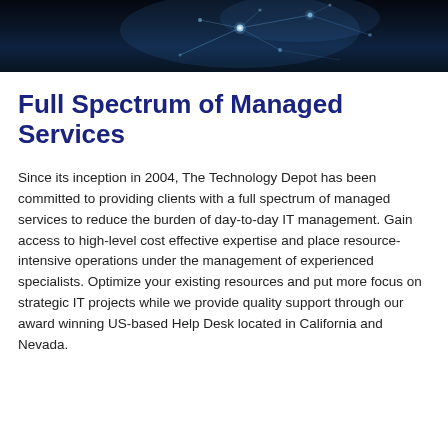[Figure (photo): Dark teal/navy header image with abstract neural network or fiber optic light patterns, glowing nodes and connecting lines on dark background]
Full Spectrum of Managed Services
Since its inception in 2004, The Technology Depot has been committed to providing clients with a full spectrum of managed services to reduce the burden of day-to-day IT management. Gain access to high-level cost effective expertise and place resource-intensive operations under the management of experienced specialists. Optimize your existing resources and put more focus on strategic IT projects while we provide quality support through our award winning US-based Help Desk located in California and Nevada.